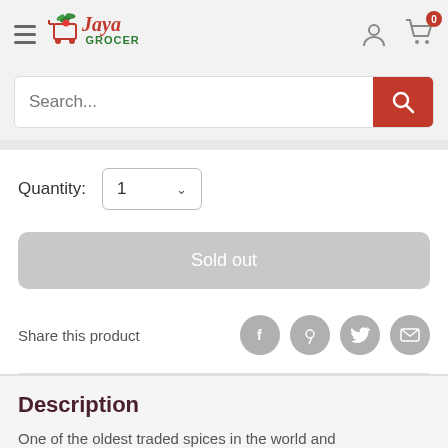[Figure (logo): Jaya Grocer logo with shopping cart and vegetables icon, red and green text]
Search...
Quantity: 1
Sold out
Share this product
Description
One of the oldest traded spices in the world and